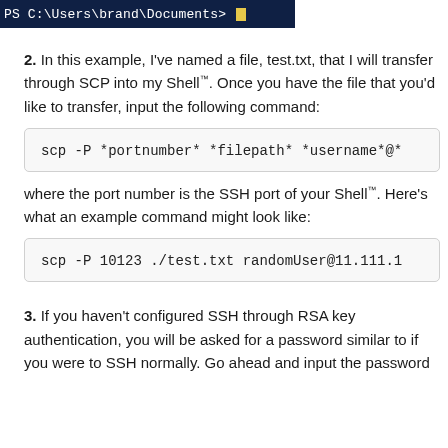[Figure (screenshot): PowerShell window showing prompt: PS C:\Users\brand\Documents> with yellow cursor]
2. In this example, I've named a file, test.txt, that I will transfer through SCP into my Shell™. Once you have the file that you'd like to transfer, input the following command:
scp -P *portnumber* *filepath* *username*@*
where the port number is the SSH port of your Shell™. Here's what an example command might look like:
scp -P 10123 ./test.txt randomUser@11.111.1
3. If you haven't configured SSH through RSA key authentication, you will be asked for a password similar to if you were to SSH normally. Go ahead and input the password